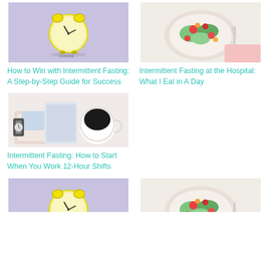[Figure (photo): Yellow alarm clock on light purple background]
How to Win with Intermittent Fasting: A Step-by-Step Guide for Success
[Figure (photo): Bowl of colorful salad with vegetables and tomatoes, fork on side]
Intermittent Fasting at the Hospital: What I Eat in A Day
[Figure (photo): Watch, tablet, and coffee cup on desk]
Intermittent Fasting: How to Start When You Work 12-Hour Shifts
[Figure (photo): Yellow alarm clock on light purple background (partial, cropped)]
[Figure (photo): Bowl of colorful salad with vegetables and tomatoes (partial, cropped)]